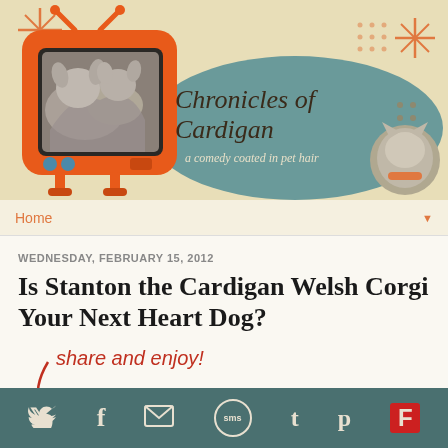[Figure (illustration): Chronicles of Cardigan blog header banner with retro orange TV set showing corgi dogs, teal blob background, blog title text, cat photo, and orange starburst decorations on cream/tan background]
Home
WEDNESDAY, FEBRUARY 15, 2012
Is Stanton the Cardigan Welsh Corgi Your Next Heart Dog?
share and enjoy!
[Figure (illustration): Social media share buttons: Facebook, Twitter, Pinterest, Email, Tumblr, Reddit partial row with colored buttons]
Social media icon bar with Twitter, Facebook, Email/envelope, SMS, Tumblr t, Pinterest p, Flipboard F icons on dark teal background